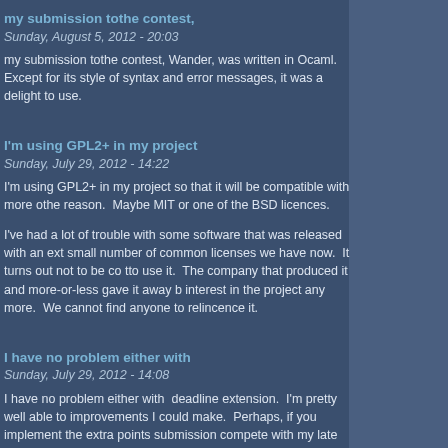my submission tothe contest,
Sunday, August 5, 2012 - 20:03
my submission tothe contest, Wander, was written in Ocaml.  Except for its style of syntax and error messages, it was a delight to use.
I'm using GPL2+ in my project
Sunday, July 29, 2012 - 14:22
I'm using GPL2+ in my project so that it will be compatible with more othe reason.  Maybe MIT or one of the BSD licences.
I've had a lot of trouble with some software that was released with an ext small number of common licenses we have now.  It turns out not to be co tto use it.  The company that produced it and more-or-less gave it away b interest in the project any more.  We cannot find anyone to relincence it.
I have no problem either with
Sunday, July 29, 2012 - 14:08
I have no problem either with  deadline extension.  I'm pretty well able to improvements I could make.  Perhaps, if you implement the extra points submission compete with my late one (that gets no extra points)?